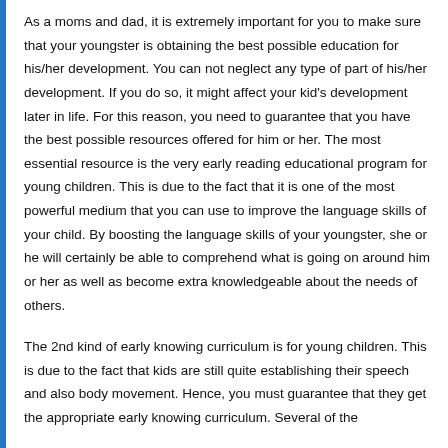As a moms and dad, it is extremely important for you to make sure that your youngster is obtaining the best possible education for his/her development. You can not neglect any type of part of his/her development. If you do so, it might affect your kid's development later in life. For this reason, you need to guarantee that you have the best possible resources offered for him or her. The most essential resource is the very early reading educational program for young children. This is due to the fact that it is one of the most powerful medium that you can use to improve the language skills of your child. By boosting the language skills of your youngster, she or he will certainly be able to comprehend what is going on around him or her as well as become extra knowledgeable about the needs of others.
The 2nd kind of early knowing curriculum is for young children. This is due to the fact that kids are still quite establishing their speech and also body movement. Hence, you must guarantee that they get the appropriate early knowing curriculum. Several of the